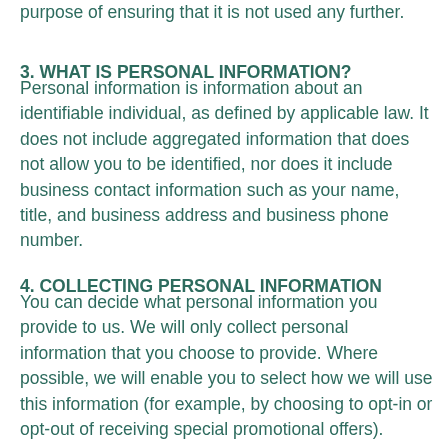purpose of ensuring that it is not used any further.
3. WHAT IS PERSONAL INFORMATION?
Personal information is information about an identifiable individual, as defined by applicable law. It does not include aggregated information that does not allow you to be identified, nor does it include business contact information such as your name, title, and business address and business phone number.
4. COLLECTING PERSONAL INFORMATION
You can decide what personal information you provide to us. We will only collect personal information that you choose to provide. Where possible, we will enable you to select how we will use this information (for example, by choosing to opt-in or opt-out of receiving special promotional offers).